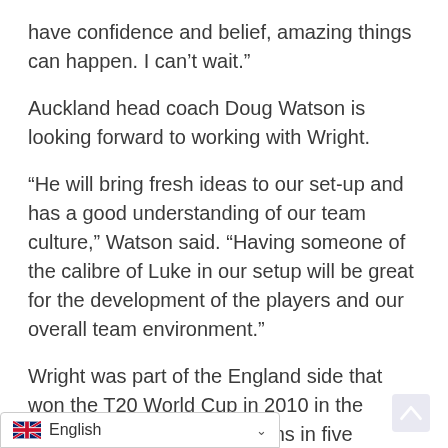have confidence and belief, amazing things can happen. I can’t wait.”
Auckland head coach Doug Watson is looking forward to working with Wright.
“He will bring fresh ideas to our set-up and has a good understanding of our team culture,” Watson said. “Having someone of the calibre of Luke in our setup will be great for the development of the players and our overall team environment.”
Wright was part of the England side that won the T20 World Cup in 2010 in the Caribbean. He scored 90 runs in five innings at a strike rate of 123.28 and though he bowled only one over in the tournament, it was a crucial one, as he took the wicket of Cameron White in the final against Australia.